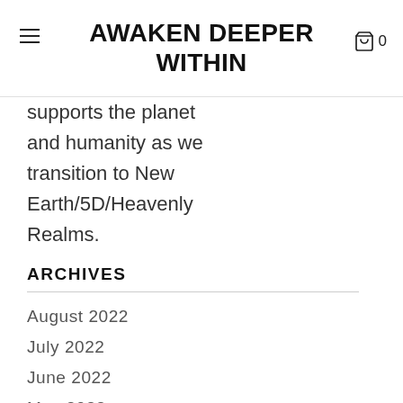AWAKEN DEEPER WITHIN
supports the planet and humanity as we transition to New Earth/5D/Heavenly Realms.
ARCHIVES
August 2022
July 2022
June 2022
May 2022
April 2022
March 2022